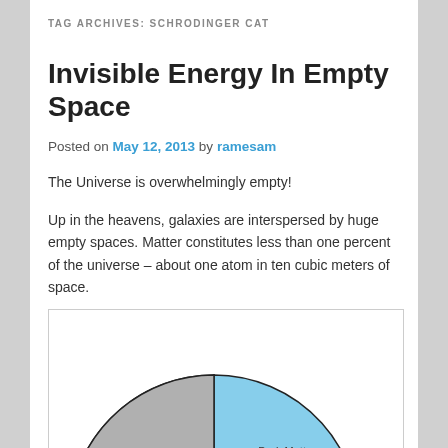TAG ARCHIVES: SCHRODINGER CAT
Invisible Energy In Empty Space
Posted on May 12, 2013 by ramesam
The Universe is overwhelmingly empty!
Up in the heavens, galaxies are interspersed by huge empty spaces. Matter constitutes less than one percent of the universe – about one atom in ten cubic meters of space.
[Figure (pie-chart): Composition of the Universe]